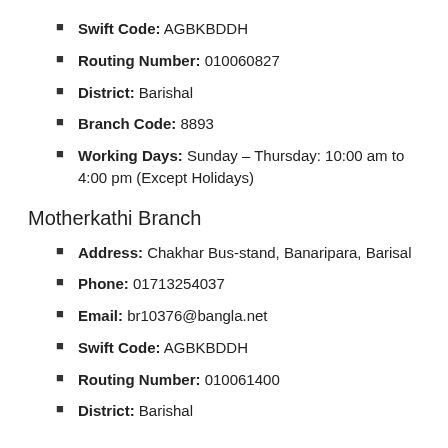Swift Code: AGBKBDDH
Routing Number: 010060827
District: Barishal
Branch Code: 8893
Working Days: Sunday – Thursday: 10:00 am to 4:00 pm (Except Holidays)
Motherkathi Branch
Address: Chakhar Bus-stand, Banaripara, Barisal
Phone: 01713254037
Email: br10376@bangla.net
Swift Code: AGBKBDDH
Routing Number: 010061400
District: Barishal